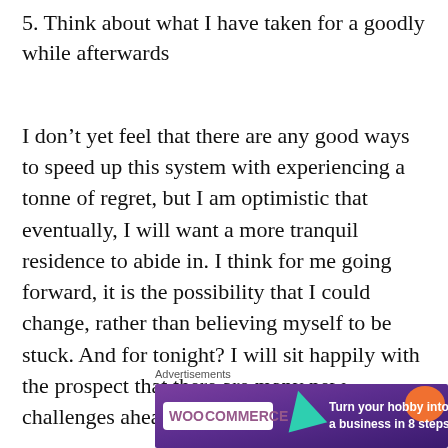5. Think about what I have taken for a goodly while afterwards
I don’t yet feel that there are any good ways to speed up this system with experiencing a tonne of regret, but I am optimistic that eventually, I will want a more tranquil residence to abide in. I think for me going forward, it is the possibility that I could change, rather than believing myself to be stuck. And for tonight? I will sit happily with the prospect that there are many new challenges ahead.
Advertisements
[Figure (infographic): WooCommerce advertisement banner with purple background, teal triangle shape, orange blob shape, WooCommerce logo in white badge, and text 'Turn your hobby into a business in 8 steps']